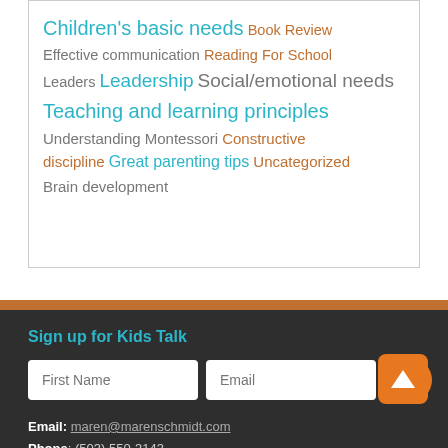Children's basic needs Book Review Effective communication Reading For School Leaders Leadership Social/emotional needs Teaching and learning principles Understanding Montessori Constructive discipline Great parenting tips Uncategorized Brain development
Sign up for Kids Talk
First Name | Email | GO
Email: maren@marenschmidt.com
Phone: (503) 550-3143